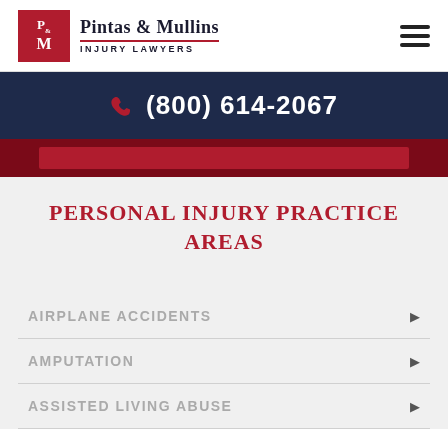[Figure (logo): Pintas & Mullins Injury Lawyers logo with red P&M box and company name]
(800) 614-2067
PERSONAL INJURY PRACTICE AREAS
AIRPLANE ACCIDENTS
AMPUTATION
ASSISTED LIVING ABUSE